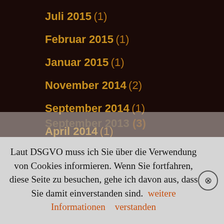Juli 2015 (1)
Februar 2015 (1)
Januar 2015 (1)
November 2014 (2)
September 2014 (1)
April 2014 (1)
März 2014 (3)
Februar 2014 (2)
Januar 2014 (4)
Dezember 2013 (4)
September 2013 (3)
August 2013 (3)
Laut DSGVO muss ich Sie über die Verwendung von Cookies informieren. Wenn Sie fortfahren, diese Seite zu besuchen, gehe ich davon aus, dass Sie damit einverstanden sind. weitere Informationen verstanden